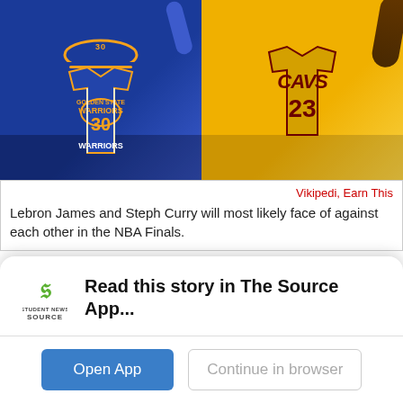[Figure (photo): Two NBA players side by side: a Golden State Warriors player (blue jersey, number 30) on the left and a Cleveland Cavaliers player (yellow jersey, CAVS 23) on the right.]
Vikipedi, Earn This
Lebron James and Steph Curry will most likely face of against each other in the NBA Finals.
Nicolas Schmidt, Staff Writer
May 21, 2017
As the NBA season comes to an end, only four teams
Read this story in The Source App...
Open App   Continue in browser